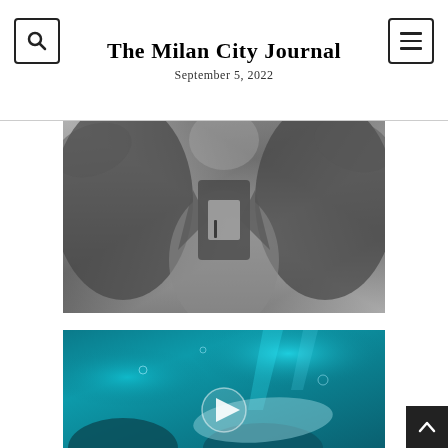The Milan City Journal
September 5, 2022
[Figure (photo): Black and white photograph of a man in a suit jacket, shot from below, arms raised. Close-up of torso and lower face area.]
[Figure (photo): Underwater aquarium scene with teal/cyan colored water, marine life visible, and a video play button overlay indicating this is a video thumbnail.]